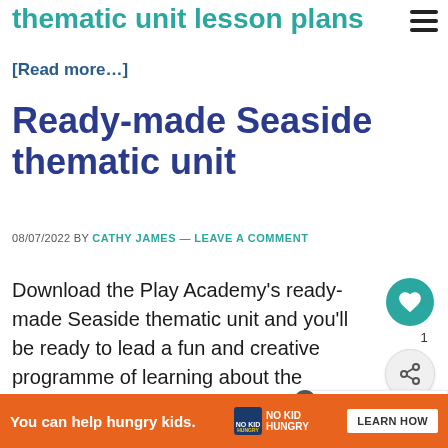thematic unit lesson plans
[Read more…]
Ready-made Seaside thematic unit
08/07/2022 BY CATHY JAMES — LEAVE A COMMENT
Download the Play Academy's ready-made Seaside thematic unit and you'll be ready to lead a fun and creative programme of learning about the Seaside with your ch…
[Figure (screenshot): Ad banner: orange background, 'You can help hungry kids.' with No Kid Hungry logo and LEARN HOW button]
[Figure (infographic): What's Next sidebar widget with tree icon and Download text]